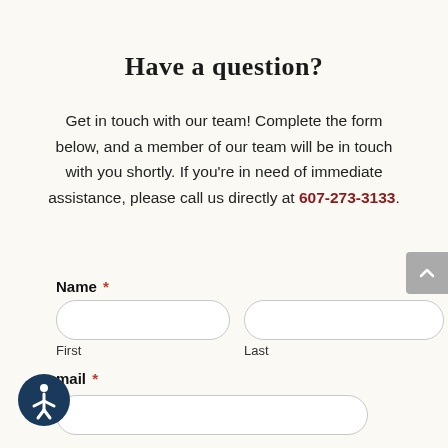Have a question?
Get in touch with our team! Complete the form below, and a member of our team will be in touch with you shortly. If you're in need of immediate assistance, please call us directly at 607-273-3133.
Name *
First
Last
mail *